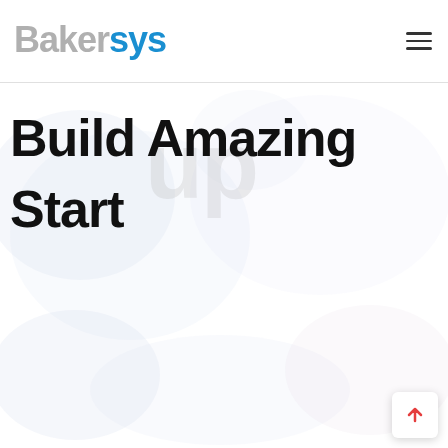Bakersys
Build Amazing Startup
[Figure (illustration): Decorative background with light blue/lavender abstract circular blob shapes in the hero section and lower portion of the page]
[Figure (other): Scroll-to-top button with a red upward arrow icon in the bottom-right corner]